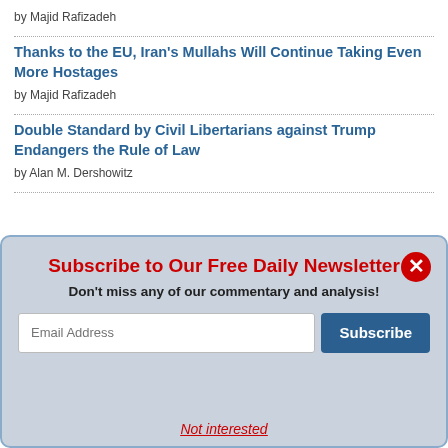by Majid Rafizadeh
Thanks to the EU, Iran's Mullahs Will Continue Taking Even More Hostages
by Majid Rafizadeh
Double Standard by Civil Libertarians against Trump Endangers the Rule of Law
by Alan M. Dershowitz
[Figure (screenshot): Email newsletter subscription modal popup with title 'Subscribe to Our Free Daily Newsletter', subtitle 'Don't miss any of our commentary and analysis!', an email address input field, a Subscribe button, a close button, and a 'Not interested' link.]